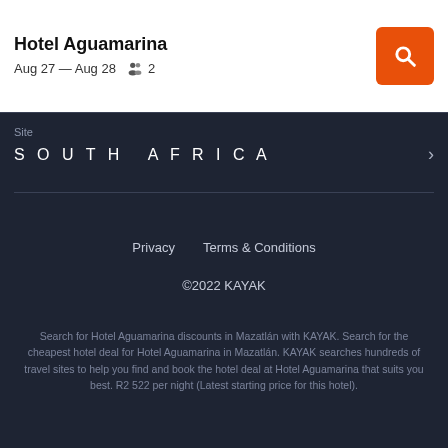Hotel Aguamarina
Aug 27 — Aug 28   2
Site
SOUTH AFRICA
Privacy   Terms & Conditions
©2022 KAYAK
Search for Hotel Aguamarina discounts in Mazatlán with KAYAK. Search for the cheapest hotel deal for Hotel Aguamarina in Mazatlán. KAYAK searches hundreds of travel sites to help you find and book the hotel deal at Hotel Aguamarina that suits you best. R2 522 per night (Latest starting price for this hotel).